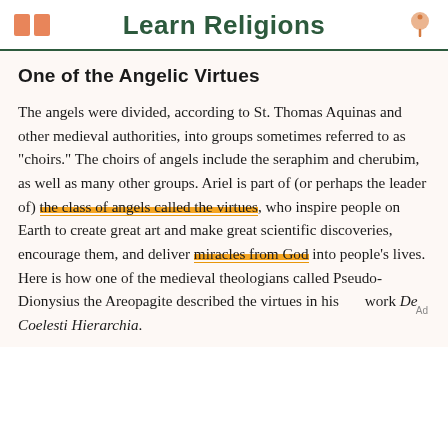Learn Religions
One of the Angelic Virtues
The angels were divided, according to St. Thomas Aquinas and other medieval authorities, into groups sometimes referred to as "choirs." The choirs of angels include the seraphim and cherubim, as well as many other groups. Ariel is part of (or perhaps the leader of) the class of angels called the virtues, who inspire people on Earth to create great art and make great scientific discoveries, encourage them, and deliver miracles from God into people's lives. Here is how one of the medieval theologians called Pseudo-Dionysius the Areopagite described the virtues in his work De Coelesti Hierarchia.